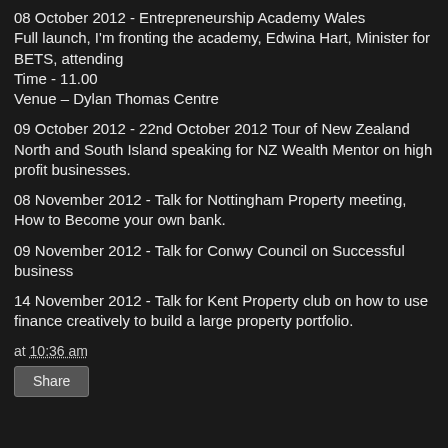08 October 2012 - Entrepreneurship Academy Wales
Full launch, I'm fronting the academy, Edwina Hart, Minister for BETS, attending
Time - 11.00
Venue – Dylan Thomas Centre
09 October 2012 - 22nd October 2012 Tour of New Zealand North and South Island speaking for NZ Wealth Mentor on high profit businesses.
08 November 2012 - Talk for Nottingham Property meeting, How to Become your own bank.
09 November 2012 - Talk for Conwy Council on Successful business
14 November 2012 - Talk for Kent Property club on how to use finance creatively to build a large property portfolio.
at 10:36 am
Share